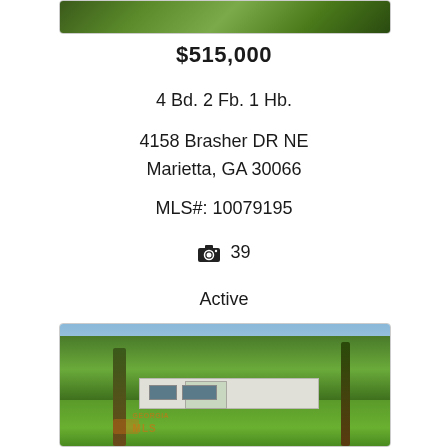[Figure (photo): Partial view of house with green foliage, top portion cropped]
$515,000
4 Bd. 2 Fb. 1 Hb.
4158 Brasher DR NE
Marietta, GA 30066
MLS#: 10079195
📷 39
Active
[Figure (photo): Front exterior photo of a white single-story ranch house with large green lawn and trees. Georgia MLS watermark visible.]